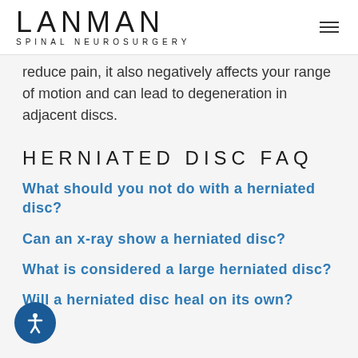LANMAN SPINAL NEUROSURGERY
reduce pain, it also negatively affects your range of motion and can lead to degeneration in adjacent discs.
HERNIATED DISC FAQ
What should you not do with a herniated disc?
Can an x-ray show a herniated disc?
What is considered a large herniated disc?
Will a herniated disc heal on its own?